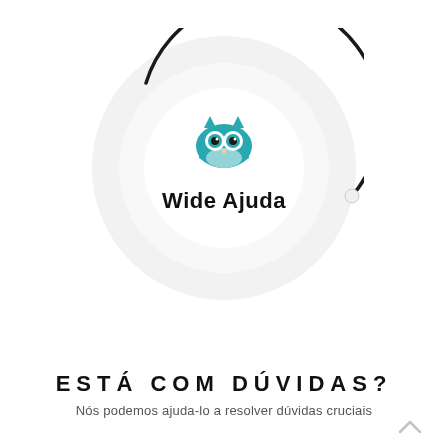[Figure (logo): Wide Ajuda logo with a teal owl icon inside concentric circular rings with a dark arc outline, and the text 'Wide Ajuda' below the owl]
ESTÁ COM DÚVIDAS?
Nós podemos ajuda-lo a resolver dúvidas cruciais